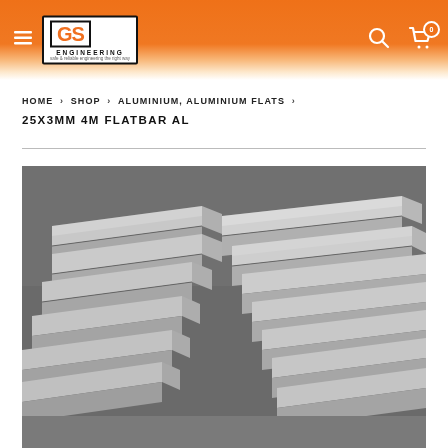GS Engineering — navigation header with hamburger menu, logo, search and cart icons
HOME > SHOP > ALUMINIUM, ALUMINIUM FLATS > 25X3MM 4M FLATBAR AL
25X3MM 4M FLATBAR AL
[Figure (photo): Close-up photograph of stacked aluminium flat bars showing brushed metallic surface and layered rectangular profiles]